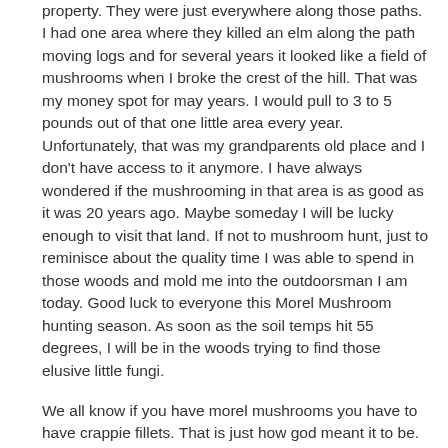property. They were just everywhere along those paths. I had one area where they killed an elm along the path moving logs and for several years it looked like a field of mushrooms when I broke the crest of the hill. That was my money spot for may years. I would pull to 3 to 5 pounds out of that one little area every year. Unfortunately, that was my grandparents old place and I don't have access to it anymore. I have always wondered if the mushrooming in that area is as good as it was 20 years ago. Maybe someday I will be lucky enough to visit that land. If not to mushroom hunt, just to reminisce about the quality time I was able to spend in those woods and mold me into the outdoorsman I am today. Good luck to everyone this Morel Mushroom hunting season. As soon as the soil temps hit 55 degrees, I will be in the woods trying to find those elusive little fungi.
We all know if you have morel mushrooms you have to have crappie fillets. That is just how god meant it to be. There is nothing better than a fresh caught crappie and some morel mushrooms. It